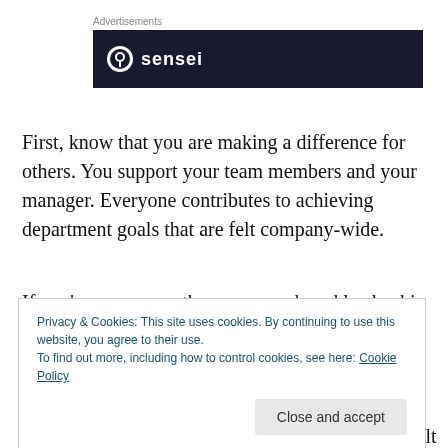[Figure (other): Advertisement banner with dark background showing 'sensei' logo and text]
First, know that you are making a difference for others. You support your team members and your manager. Everyone contributes to achieving department goals that are felt company-wide.
If you're a manager then your work and leadership can
Privacy & Cookies: This site uses cookies. By continuing to use this website, you agree to their use.
To find out more, including how to control cookies, see here: Cookie Policy
It doesn't matter what position title is, the end result of